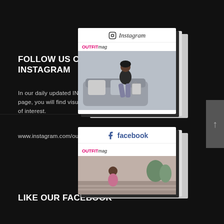FOLLOW US ON INSTAGRAM
In our daily updated INSTAGRAM page, you will find visuals of your area of interest.
www.instagram.com/outfitmagcom
[Figure (screenshot): Instagram profile mock-up card for OUTFITmag showing Instagram logo and header, OUTFITmag username, and a fashion photo of a person sitting on a sofa with shopping bags]
[Figure (screenshot): Facebook profile mock-up card for OUTFITmag showing Facebook logo and header, OUTFITmag username, and a fashion photo]
LIKE OUR FACEBOOK